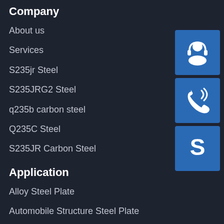Company
About us
Services
S235jr Steel
S235JRG2 Steel
q235b carbon steel
Q235C Steel
S235JR Carbon Steel
[Figure (illustration): Three blue icon buttons: customer support (headset icon), phone/call icon, and Skype logo icon]
Application
Alloy Steel Plate
Automobile Structure Steel Plate